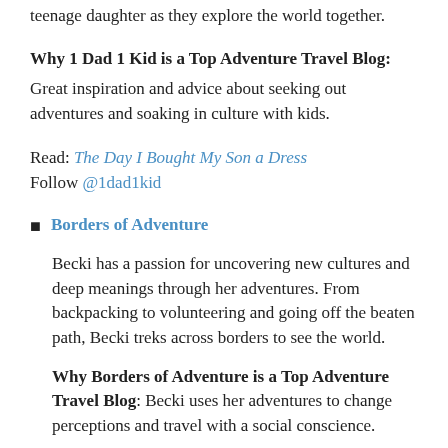teenage daughter as they explore the world together.
Why 1 Dad 1 Kid is a Top Adventure Travel Blog:
Great inspiration and advice about seeking out adventures and soaking in culture with kids.
Read: The Day I Bought My Son a Dress
Follow @1dad1kid
Borders of Adventure
Becki has a passion for uncovering new cultures and deep meanings through her adventures. From backpacking to volunteering and going off the beaten path, Becki treks across borders to see the world.
Why Borders of Adventure is a Top Adventure Travel Blog: Becki uses her adventures to change perceptions and travel with a social conscience.